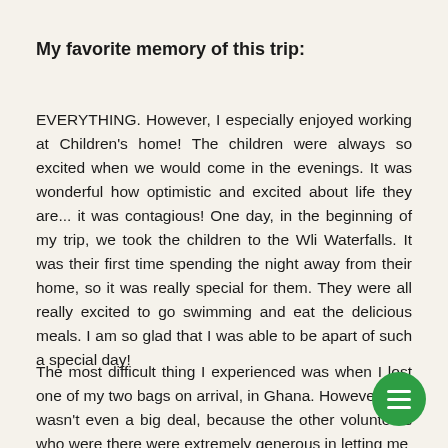My favorite memory of this trip:
EVERYTHING. However, I especially enjoyed working at Children's home! The children were always so excited when we would come in the evenings. It was wonderful how optimistic and excited about life they are... it was contagious! One day, in the beginning of my trip, we took the children to the Wli Waterfalls. It was their first time spending the night away from their home, so it was really special for them. They were all really excited to go swimming and eat the delicious meals. I am so glad that I was able to be apart of such a special day!
The most difficult thing I experienced was when I lost one of my two bags on arrival, in Ghana. However, this wasn't even a big deal, because the other volunteers who were there were extremely generous in letting me